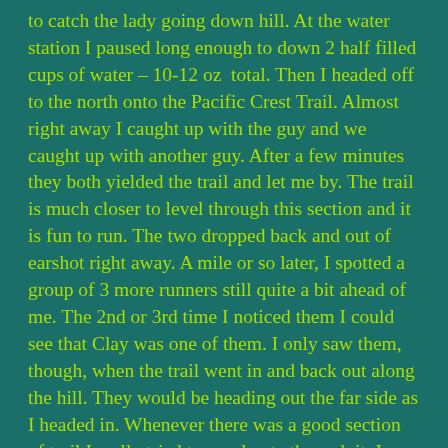to catch the lady going down hill. At the water station I paused long enough to down 2 half filled cups of water – 10-12 oz total. Then I headed off to the north onto the Pacific Crest Trail. Almost right away I caught up with the guy and we caught up with another guy. After a few minutes they both yielded the trail and let me by. The trail is much closer to level through this section and it is fun to run. The two dropped back and out of earshot right away. A mile or so later, I spotted a group of 3 more runners still quite a bit ahead of me. The 2nd or 3rd time I noticed them I could see that Clay was one of them. I only saw them, though, when the trail went in and back out along the hill. They would be heading out the far side as I headed in. Whenever there was a good section of trail I really tried to accelerate through it. I glanced at my watch from time to time and noticed some paces that were 6 something. I really could not look often though because my footing on the trail demanded all of my attention.
Somewhere after the 6 mile mark I saw the leaders coming back at me. Karl was in the lead with a guy who looked to be in his early 20s. A minute or so behind him was another guy, and then 2 more. I was just about at the highway turn around when